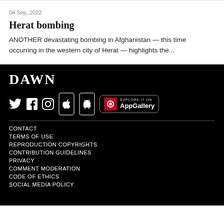04 Sep, 2022
Herat bombing
ANOTHER devastating bombing in Afghanistan — this time occurring in the western city of Herat — highlights the...
[Figure (logo): DAWN news website footer with logo, social media icons (Twitter, Facebook, Instagram), app store icons (Apple, Android), Huawei AppGallery button, and footer navigation links: CONTACT, TERMS OF USE, REPRODUCTION COPYRIGHTS, CONTRIBUTION GUIDELINES, PRIVACY, COMMENT MODERATION, CODE OF ETHICS, SOCIAL MEDIA POLICY]